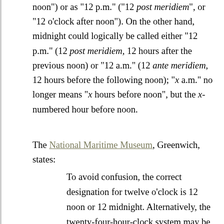noon") or as "12 p.m." ("12 post meridiem", or "12 o'clock after noon"). On the other hand, midnight could logically be called either "12 p.m." (12 post meridiem, 12 hours after the previous noon) or "12 a.m." (12 ante meridiem, 12 hours before the following noon); "x a.m." no longer means "x hours before noon", but the x-numbered hour before noon.
The National Maritime Museum, Greenwich, states:
To avoid confusion, the correct designation for twelve o'clock is 12 noon or 12 midnight. Alternatively, the twenty-four-hour-clock system may be used.